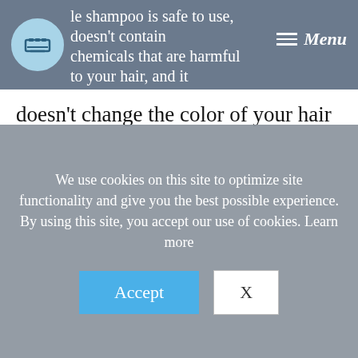le shampoo is safe to use, doesn't contain chemicals that are harmful to your hair, and it
doesn't change the color of your hair when used correctly.
If your grays are starting to have the color of a used dishrag, I'd highly recommend using a purple shampoo to keep them bright and beautiful
We use cookies on this site to optimize site functionality and give you the best possible experience. By using this site, you accept our use of cookies. Learn more